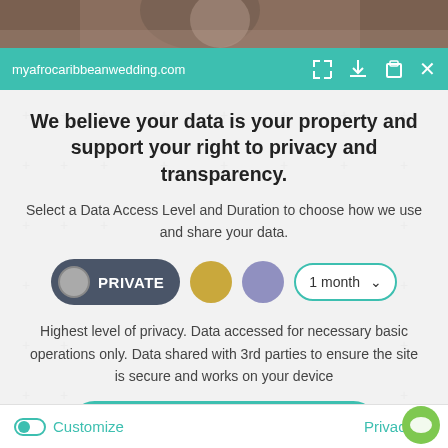[Figure (screenshot): Top portion of a webpage showing a person in traditional African/Caribbean wedding attire]
myafrocaribbeanwedding.com
We believe your data is your property and support your right to privacy and transparency.
Select a Data Access Level and Duration to choose how we use and share your data.
[Figure (infographic): Privacy controls row: PRIVATE toggle button (dark), gold circle, purple circle, and 1 month dropdown selector]
Highest level of privacy. Data accessed for necessary basic operations only. Data shared with 3rd parties to ensure the site is secure and works on your device
[Figure (infographic): Save my preferences button (teal/green rounded rectangle)]
Customize
Privacy po...